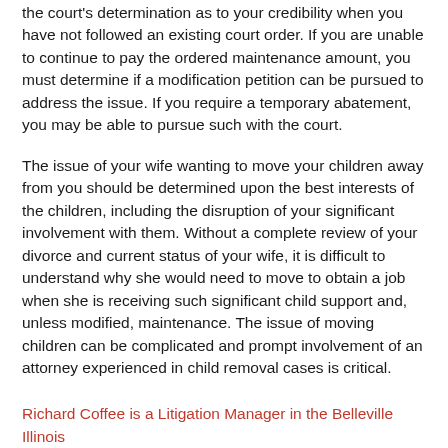the court's determination as to your credibility when you have not followed an existing court order.  If you are unable to continue to pay the ordered maintenance amount, you must determine if a modification petition can be pursued to address the issue.  If you require a temporary abatement, you may be able to pursue such with the court.
The issue of your wife wanting to move your children away from you should be determined upon the best interests of the children, including the disruption of your significant involvement with them.  Without a complete review of your divorce and current status of your wife, it is difficult to understand why she would need to move to obtain a job when she is receiving such significant child support and, unless modified, maintenance.  The issue of moving children can be complicated and prompt involvement of an attorney experienced in child removal cases is critical.
Richard Coffee is a Litigation Manager in the Belleville Illinois